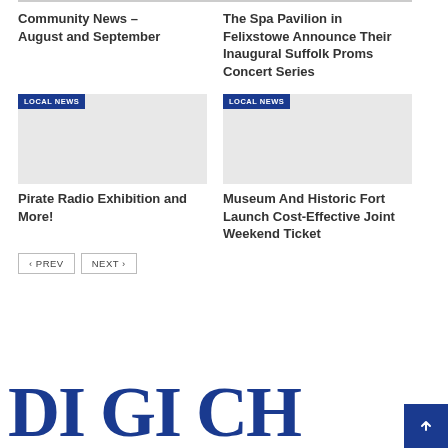Community News – August and September
The Spa Pavilion in Felixstowe Announce Their Inaugural Suffolk Proms Concert Series
[Figure (photo): Image placeholder with LOCAL NEWS badge overlay, gray background]
[Figure (photo): Image placeholder with LOCAL NEWS badge overlay, gray background]
Pirate Radio Exhibition and More!
Museum And Historic Fort Launch Cost-Effective Joint Weekend Ticket
< PREV
NEXT >
[Figure (logo): Partial large blue serif logo letters at bottom of page]